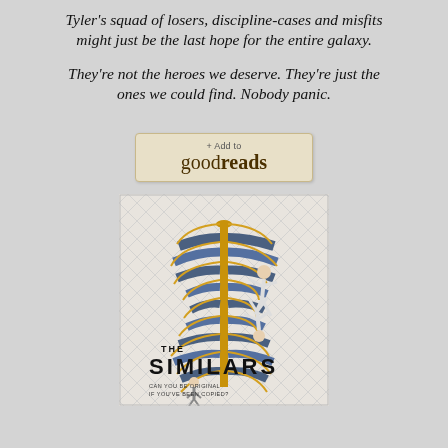Tyler's squad of losers, discipline-cases and misfits might just be the last hope for the entire galaxy.
They're not the heroes we deserve. They're just the ones we could find. Nobody panic.
[Figure (logo): Goodreads '+ Add to goodreads' button with beige/tan background]
[Figure (illustration): Book cover for 'The Similars' showing a spiral staircase with gold railings and blue steps, two figures climbing/falling, checkerboard background. Text reads: THE SIMILARS, CAN YOU BE ORIGINAL IF YOU'VE BEEN COPIED?]